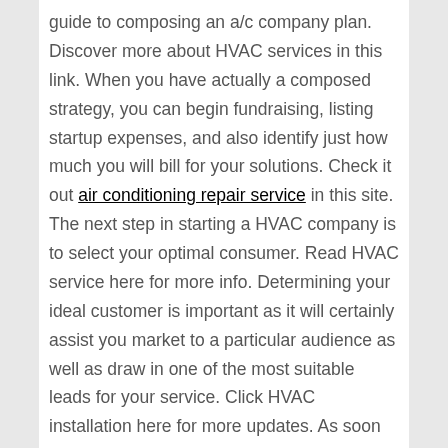guide to composing an a/c company plan. Discover more about HVAC services in this link. When you have actually a composed strategy, you can begin fundraising, listing startup expenses, and also identify just how much you will bill for your solutions. Check it out air conditioning repair service in this site. The next step in starting a HVAC company is to select your optimal consumer. Read HVAC service here for more info. Determining your ideal customer is important as it will certainly assist you market to a particular audience as well as draw in one of the most suitable leads for your service. Click HVAC installation here for more updates. As soon as you have actually decided on your perfect customer, you'll require to determine your area of operation and also the kind of consumers you intend to target. View air conditioning contractor here for more details. You'll additionally need to investigate your competitors as well as identify any type of solution gaps in the local market. Read more about heating